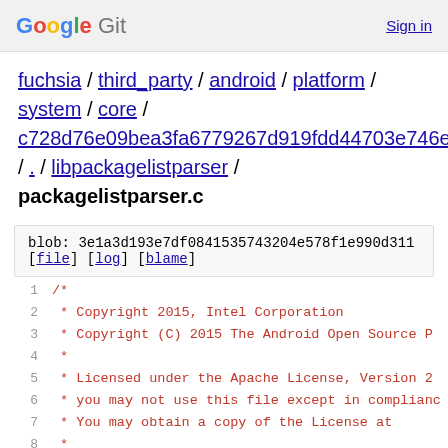Google Git  Sign in
fuchsia / third_party / android / platform / system / core / c728d76e09bea3fa6779267d919fdd44703e746e / . / libpackagelistparser / packagelistparser.c
blob: 3e1a3d193e7df0841535743204e578f1e990d311 [file] [log] [blame]
1  /*
2   * Copyright 2015, Intel Corporation
3   * Copyright (C) 2015 The Android Open Source P
4   *
5   * Licensed under the Apache License, Version 2
6   * you may not use this file except in complian
7   * You may obtain a copy of the License at
8   *